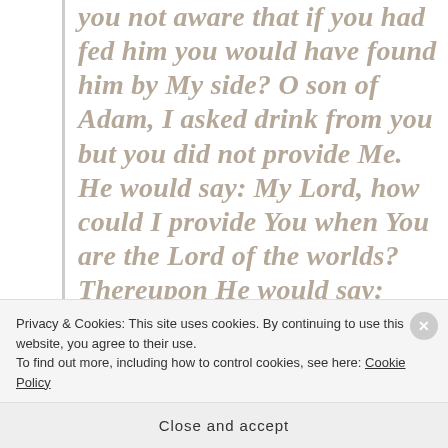you not aware that if you had fed him you would have found him by My side? O son of Adam, I asked drink from you but you did not provide Me. He would say: My Lord, how could I provide You when You are the Lord of the worlds? Thereupon He would say: Such and such of servant of Mine asked you for a drink but you did not provide him, and had you provided him drink you would
Privacy & Cookies: This site uses cookies. By continuing to use this website, you agree to their use. To find out more, including how to control cookies, see here: Cookie Policy
Close and accept